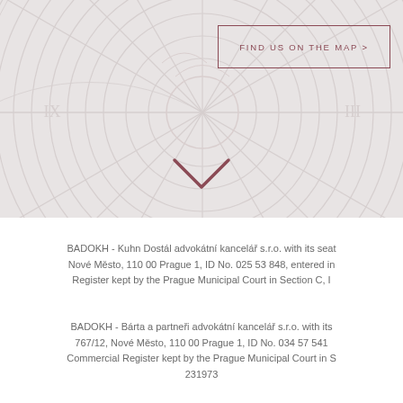[Figure (other): Top decorative banner with clock/astronomical dial watermark background in light grey/pink tones, containing a 'FIND US ON THE MAP >' button with a burgundy border and a chevron/checkmark symbol below]
BADOKH - Kuhn Dostál advokátní kancelář s.r.o. with its seat Nové Město, 110 00 Prague 1, ID No. 025 53 848, entered in Register kept by the Prague Municipal Court in Section C, I
BADOKH - Bárta a partneři advokátní kancelář s.r.o. with its 767/12, Nové Město, 110 00 Prague 1, ID No. 034 57 541 Commercial Register kept by the Prague Municipal Court in S 231973